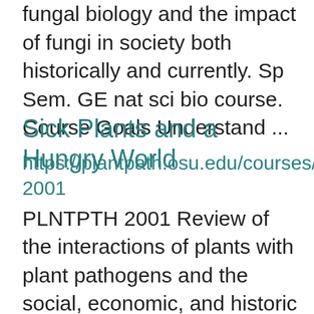fungal biology and the impact of fungi in society both historically and currently. Sp Sem. GE nat sci bio course. Course Goals Understand ...
Sick Plants and a Hungry World
https://plantpath.osu.edu/courses/plntpth-2001 PLNTPTH 2001 Review of the interactions of plants with plant pathogens and the social, economic, and historic consequences for civilization. Entirely online course. Au, Sp Sems. Prereq: Not open to students with credit for 201. Undergraduate 2.0 Summer 20 ...